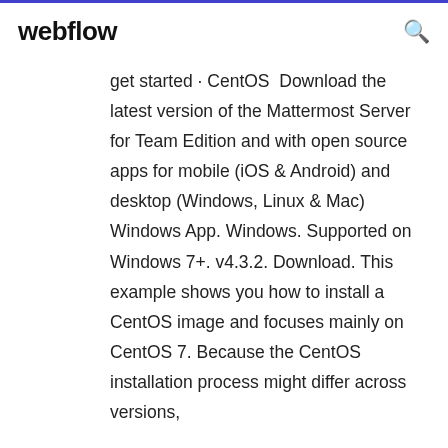webflow
get started · CentOS  Download the latest version of the Mattermost Server for Team Edition and with open source apps for mobile (iOS & Android) and desktop (Windows, Linux & Mac) Windows App. Windows. Supported on Windows 7+. v4.3.2. Download. This example shows you how to install a CentOS image and focuses mainly on CentOS 7. Because the CentOS installation process might differ across versions,
Our supported versions page lists which product versions are governed by the new license. Additional information about our licenses can be found here. It's time to get the